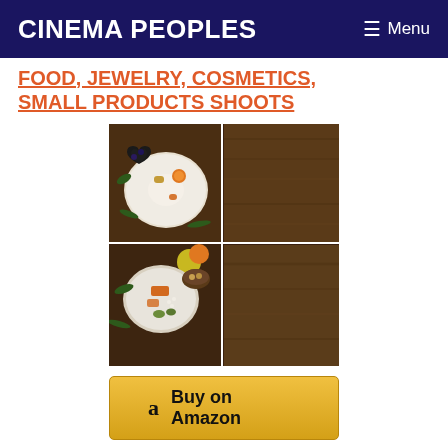Cinema Peoples   ≡ Menu
FOOD, JEWELRY, COSMETICS, SMALL PRODUCTS SHOOTS
[Figure (photo): 2x2 grid of food photography images showing overhead shots of plates with food on rustic wooden backgrounds]
[Figure (other): Buy on Amazon button with Amazon logo]
We described these backgrounds as "2-in-1", because a single background has two sides with different colored or textured pattern. One background